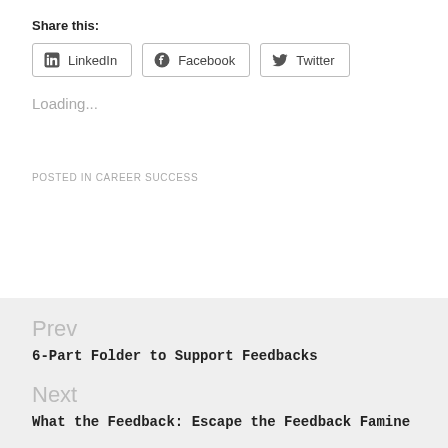Share this:
[Figure (screenshot): Share buttons for LinkedIn, Facebook, and Twitter]
Loading...
POSTED IN CAREER SUCCESS
Prev
6-Part Folder to Support Feedbacks
Next
What the Feedback: Escape the Feedback Famine